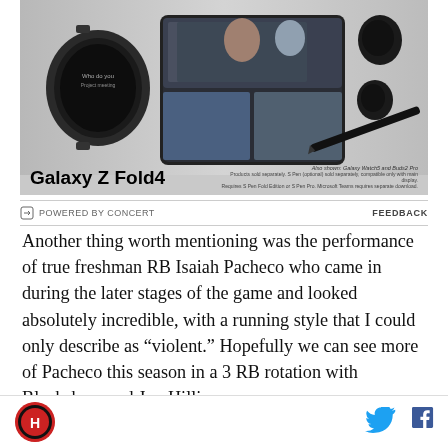[Figure (photo): Samsung Galaxy Z Fold4 advertisement showing the folding phone, Galaxy Watch5, Buds2 Pro, and S Pen against a gray background. Text reads 'Galaxy Z Fold4' with small print about accessories sold separately.]
POWERED BY CONCERT    FEEDBACK
Another thing worth mentioning was the performance of true freshman RB Isaiah Pacheco who came in during the later stages of the game and looked absolutely incredible, with a running style that I could only describe as “violent.” Hopefully we can see more of Pacheco this season in a 3 RB rotation with Blackshear and Jon Hilliman.
It was refreshing to see Chris Ash completely dominate